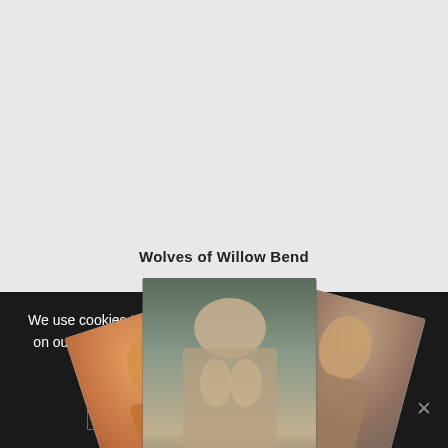Wolves of Willow Bend
[Figure (illustration): Fan of three book covers. Left cover shows a woman with reddish hair in warm orange tones. Center cover shows a shirtless man in gray/green tones with 'GHOST WOLF' text at the bottom. Right cover shows a man with dark hair in muted brown/gray tones.]
We use cookies to ensure that we give you the best experience on our website. If you continue to use this site we will assume that you are happy with it.
Ok
Read more